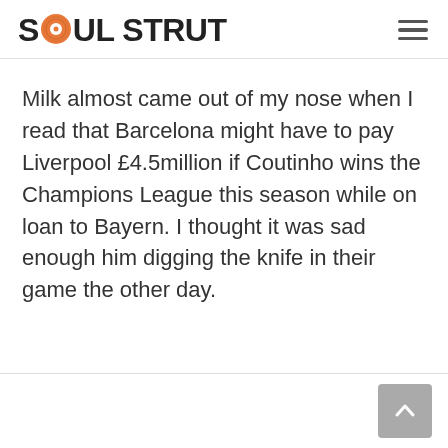SOUL STRUT
Milk almost came out of my nose when I read that Barcelona might have to pay Liverpool £4.5million if Coutinho wins the Champions League this season while on loan to Bayern. I thought it was sad enough him digging the knife in their game the other day.